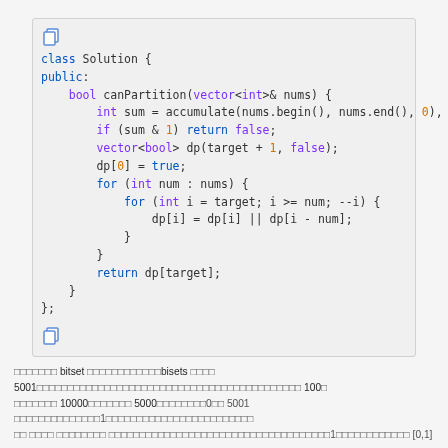[Figure (screenshot): Code block showing C++ class Solution with canPartition method using dynamic programming with bitset approach]
如果使用 bitset 来优化，我们可以将bisets 大小设为 5001。因为数组长度最大为 100，数组的最大值为 100，和的最大值为 10000，一半的最大值为 5000，所以bitset大小为0到 5001 就足够了。从1开始遍历数组元素，...